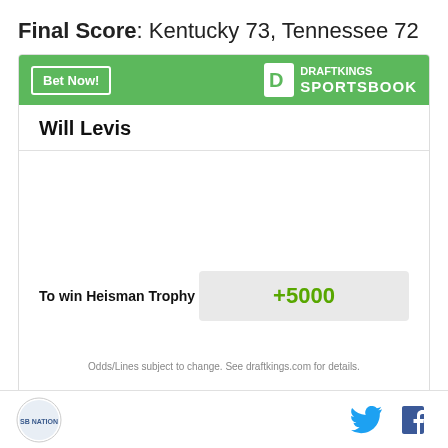Final Score: Kentucky 73, Tennessee 72
[Figure (infographic): DraftKings Sportsbook betting widget showing Will Levis odds to win Heisman Trophy at +5000]
Odds/Lines subject to change. See draftkings.com for details.
Social media share icons (Twitter, Facebook) and site logo